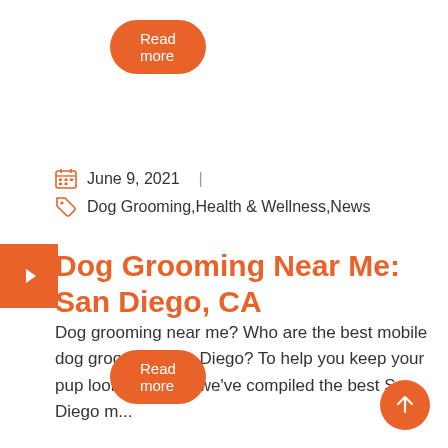Read more
June 9, 2021
Dog Grooming,Health & Wellness,News
Dog Grooming Near Me: San Diego, CA
Dog grooming near me? Who are the best mobile dog groomers San Diego? To help you keep your pup looking sharp, we've compiled the best San Diego m...
Read more